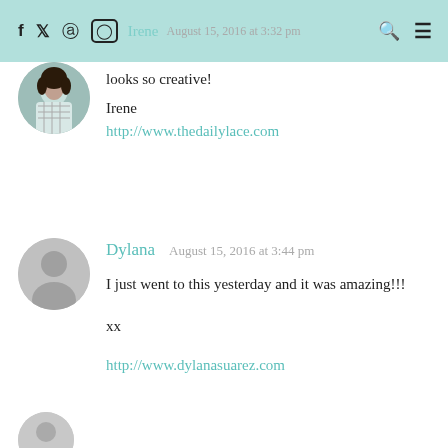Irene  August 15, 2016 at 3:32 pm
[Figure (photo): Circular avatar photo of a woman with dark hair wearing a white patterned outfit]
looks so creative!
Irene
http://www.thedailylace.com
Dylana  August 15, 2016 at 3:44 pm
[Figure (photo): Circular default user avatar in gray]
I just went to this yesterday and it was amazing!!!

xx

http://www.dylanasuarez.com
[Figure (photo): Partial circular gray avatar at the bottom of the page]